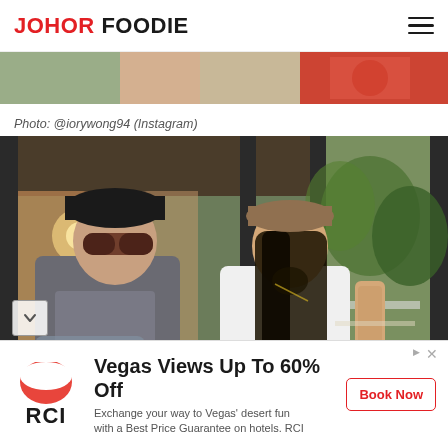JOHOR FOODIE
[Figure (photo): Partial top strip of food photo visible above the caption]
Photo: @iorywong94 (Instagram)
[Figure (photo): Two men standing inside a cafe/restaurant. Left man wears sunglasses and a grey graphic t-shirt. Right man has long hair, a beard, tattoos on his arms, and wears a white tank top. Both are posed casually. The background shows plants, industrial interior with black metal frames and brick walls.]
Vegas Views Up To 60% Off
Exchange your way to Vegas' desert fun with a Best Price Guarantee on hotels. RCI